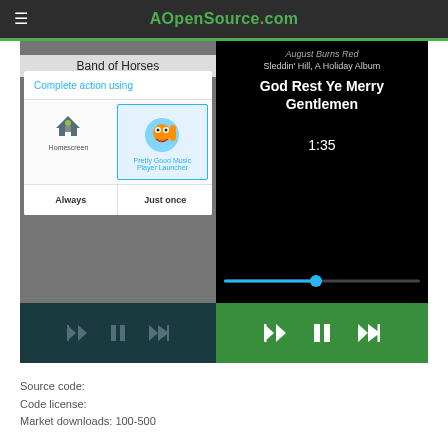AOpenSource.com
[Figure (screenshot): Two Android music player app screenshots side by side. Left shows a 'Complete action using' dialog with Homescreen and Pretty Good Music Player Launcher options, plus Always/Just once buttons, over a Band of Horses player. Right shows a music player with August Burns Red, Sleddin' Hill A Holiday Album, God Rest Ye Merry Gentlemen, timestamp 1:35, progress bar, and green playback controls.]
Source code:
Code license:
Market downloads: 100-500